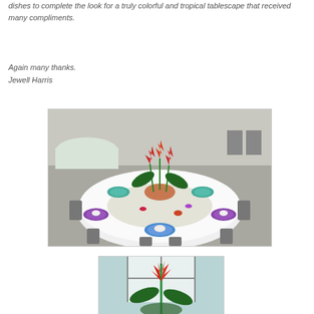dishes to complete the look for a truly colorful and tropical tablescape that received many compliments.
Again many thanks.
Jewell Harris
[Figure (photo): A round banquet table set with colorful tropical-themed place settings including purple and teal plates, seashells, and a centerpiece with tropical red flowers in a large shell, surrounded by folding chairs in a hall.]
[Figure (photo): Close-up of a tropical floral arrangement with red heliconia flowers and green leaves, viewed through or near a window with light background.]